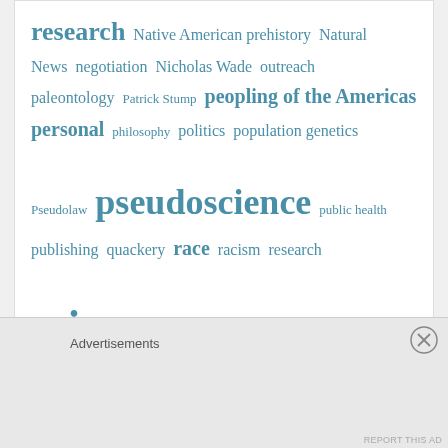[Figure (other): Tag cloud with terms of varying sizes in teal/blue color on white background, including: research, Native American prehistory, Natural News, negotiation, Nicholas Wade, outreach, paleontology, Patrick Stump, peopling of the Americas, personal, philosophy, politics, population genetics, Pseudolaw, pseudoscience, public health, publishing, quackery, race, racism, research, science, science communication, skepticism, Solutrean hypothesis, space, television, universe, university of Google, vaccination, vaccines, wakefield, web links, wildlife, women in science]
Advertisements